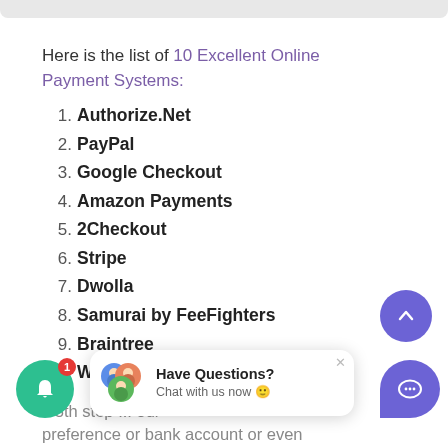Here is the list of 10 Excellent Online Payment Systems:
1. Authorize.Net
2. PayPal
3. Google Checkout
4. Amazon Payments
5. 2Checkout
6. Stripe
7. Dwolla
8. Samurai by FeeFighters
9. Braintree
10. WePay
s 5th step ... our preference or bank account or even